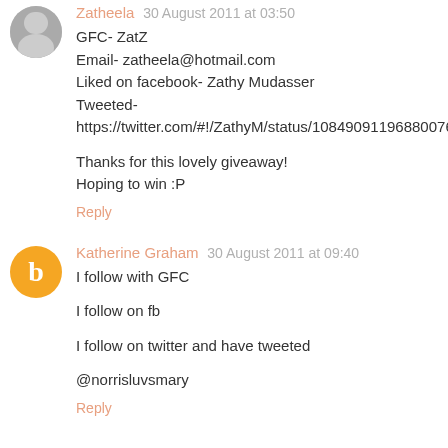Zatheela 30 August 2011 at 03:50
GFC- ZatZ
Email- zatheela@hotmail.com
Liked on facebook- Zathy Mudasser
Tweeted- https://twitter.com/#!/ZathyM/status/108490911968800768

Thanks for this lovely giveaway!
Hoping to win :P
Reply
Katherine Graham 30 August 2011 at 09:40
I follow with GFC

I follow on fb

I follow on twitter and have tweeted

@norrisluvsmary
Reply